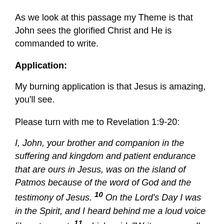As we look at this passage my Theme is that John sees the glorified Christ and He is commanded to write.
Application:
My burning application is that Jesus is amazing, you'll see.
Please turn with me to Revelation 1:9-20:
I, John, your brother and companion in the suffering and kingdom and patient endurance that are ours in Jesus, was on the island of Patmos because of the word of God and the testimony of Jesus. 10 On the Lord's Day I was in the Spirit, and I heard behind me a loud voice like a trumpet, 11 which said: “Write on a scroll what you see and send it to the seven churches: to Ephesus, Smyrna, Pergamum, Thyatira, Sardis, Philadelphia and